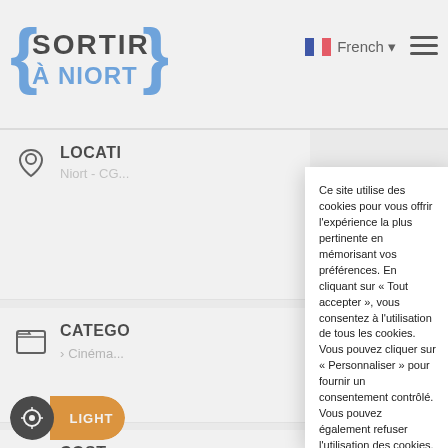[Figure (logo): Sortir à Niort logo with curly braces in blue]
French ▾
LOCATION
Niort - CG...
CATEGO...
> Cinéma...
COST
4,00
LIGHT
Ce site utilise des cookies pour vous offrir l'expérience la plus pertinente en mémorisant vos préférences. En cliquant sur « Tout accepter », vous consentez à l'utilisation de tous les cookies. Vous pouvez cliquer sur « Personnaliser » pour fournir un consentement contrôlé. Vous pouvez également refuser l'utilisation des cookies.
Tout accepter
Tout refuser
Personnaliser
Politique d'utilisation des cookies